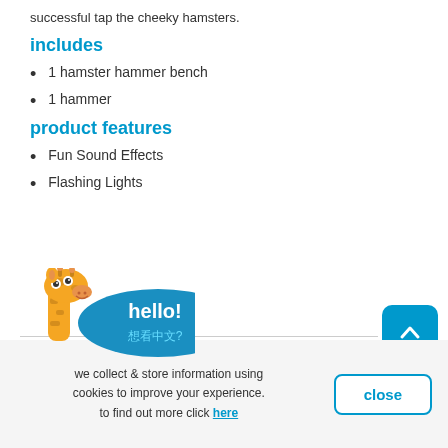successful tap the cheeky hamsters.
includes
1 hamster hammer bench
1 hammer
product features
Fun Sound Effects
Flashing Lights
[Figure (illustration): Giraffe mascot illustration with blue oval speech bubble saying 'hello!' and '想看中文?' in teal text below]
we collect & store information using cookies to improve your experience. to find out more click here